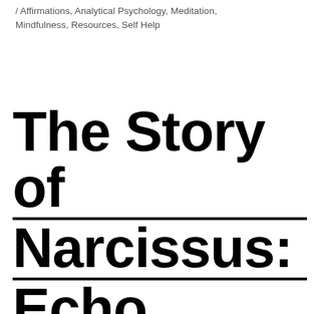/ Affirmations, Analytical Psychology, Meditation, Mindfulness, Resources, Self Help
The Story of Narcissus: Echo, Mental Health, and the I...